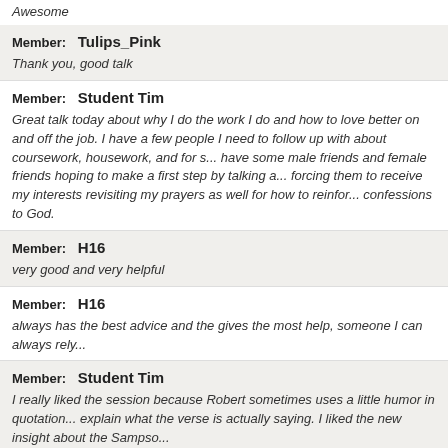Awesome
Member: Tulips_Pink
Thank you, good talk
Member: Student Tim
Great talk today about why I do the work I do and how to love better on and off the job. I have a few people I need to follow up with about coursework, housework, and for s... have some male friends and female friends hoping to make a first step by talking a... forcing them to receive my interests revisiting my prayers as well for how to reinfor... confessions to God.
Member: H16
very good and very helpful
Member: H16
always has the best advice and the gives the most help, someone I can always rely...
Member: Student Tim
I really liked the session because Robert sometimes uses a little humor in quotation... explain what the verse is actually saying. I liked the new insight about the Sampso...